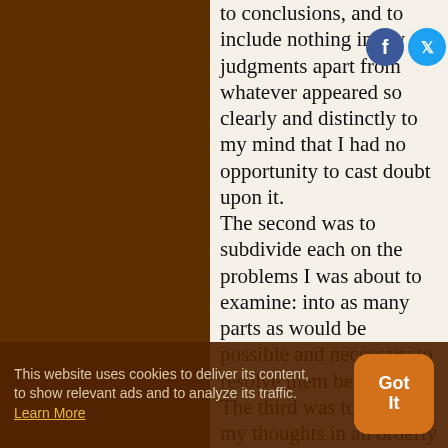to conclusions, and to include nothing in my judgments apart from whatever appeared so clearly and distinctly to my mind that I had no opportunity to cast doubt upon it. The second was to subdivide each on the problems I was about to examine: into as many parts as would be possible and necessary to resolve them better. The third was to guide my thoughts in an orderly way by beginning, as if by steps, to knowledge of the
This website uses cookies to deliver its content, to show relevant ads and to analyze its traffic. Learn More
Got It